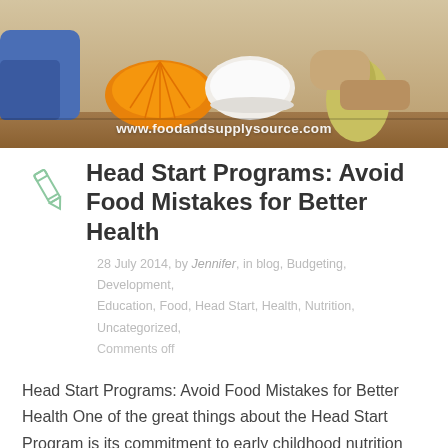[Figure (photo): Hero image of a child with fruits including orange slices and a pear on a table, with website watermark www.foodandsupplysource.com]
Head Start Programs: Avoid Food Mistakes for Better Health
28 July 2014, by Jennifer, in blog, Budgeting, Development, Education, Food, Head Start, Health, Nutrition, Uncategorized, Comments off
Head Start Programs: Avoid Food Mistakes for Better Health One of the great things about the Head Start Program is its commitment to early childhood nutrition and building healthy eating habits. They teach kids and parents about improving diet by introducing healthy fresh fruits and vegetables in order to encourage a lifetime of good skills. Children can be picky eaters, but there are ways to help them try new things without making mistakes that could be stumbling blocks.